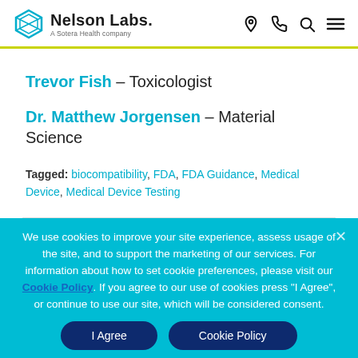Nelson Labs — A Sotera Health company
Trevor Fish – Toxicologist
Dr. Matthew Jorgensen – Material Science
Tagged: biocompatibility, FDA, FDA Guidance, Medical Device, Medical Device Testing
FOLLOW BLOG VIA EMAIL
We use cookies to improve your site experience, assess usage of the site, and to support the marketing of our services. For information about how to set cookie preferences, please visit our Cookie Policy. If you agree to our use of cookies press "I Agree", or continue to use our site, which will be considered consent.